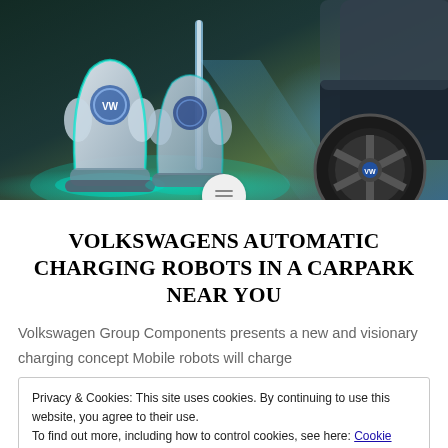[Figure (photo): Hero image showing Volkswagen automatic charging robots (futuristic silver/glowing robotic units) next to an electric vehicle wheel in a stylized parking setting with teal and yellow-green lighting]
VOLKSWAGENS AUTOMATIC CHARGING ROBOTS IN A CARPARK NEAR YOU
Volkswagen Group Components presents a new and visionary charging concept Mobile robots will charge
Privacy & Cookies: This site uses cookies. By continuing to use this website, you agree to their use. To find out more, including how to control cookies, see here: Cookie Policy
Close and accept
end. Volkswagen Group Components' mobile